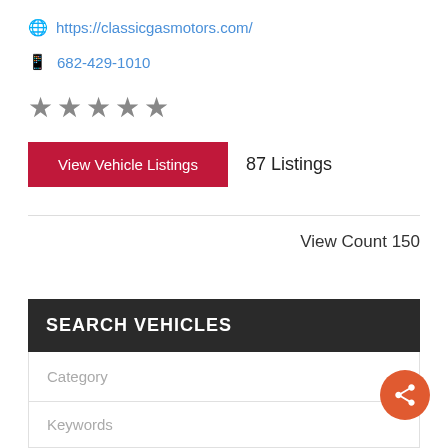https://classicgasmotors.com/
682-429-1010
[Figure (other): 5 gray star rating icons]
View Vehicle Listings  87 Listings
View Count 150
SEARCH VEHICLES
Category
Keywords